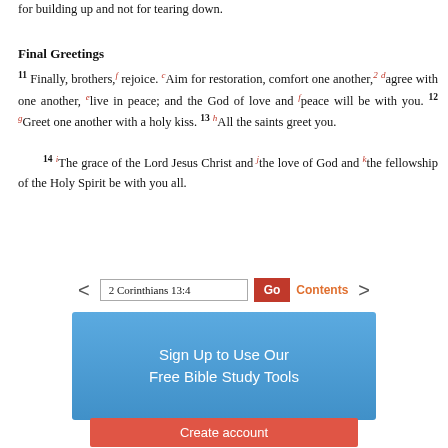for building up and not for tearing down.
Final Greetings
11 Finally, brothers, [f] rejoice. [c]Aim for restoration, comfort one another,2 [d]agree with one another, [e]live in peace; and the God of love and [f]peace will be with you. 12 [g]Greet one another with a holy kiss. 13 [h]All the saints greet you. 14 [i]The grace of the Lord Jesus Christ and [j]the love of God and [k]the fellowship of the Holy Spirit be with you all.
2 Corinthians 13:4
[Figure (screenshot): Sign Up to Use Our Free Bible Study Tools - blue promotional banner with Create account button]
Create account